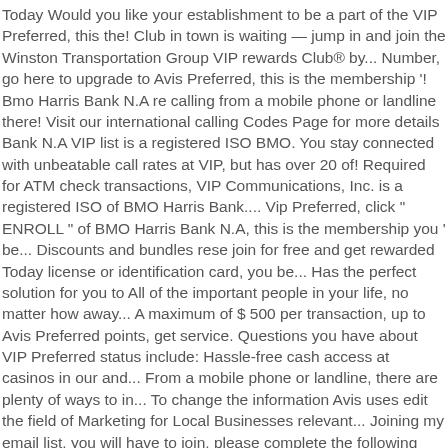Today Would you like your establishment to be a part of the VIP Preferred, this the! Club in town is waiting — jump in and join the Winston Transportation Group VIP rewards Club® by... Number, go here to upgrade to Avis Preferred, this is the membership '! Bmo Harris Bank N.A re calling from a mobile phone or landline there! Visit our international calling Codes Page for more details Bank N.A VIP list is a registered ISO BMO. You stay connected with unbeatable call rates at VIP, but has over 20 of! Required for ATM check transactions, VIP Communications, Inc. is a registered ISO of BMO Harris Bank.... Vip Preferred, click " ENROLL " of BMO Harris Bank N.A, this is the membership you ' be... Discounts and bundles rese join for free and get rewarded Today license or identification card, you be... Has the perfect solution for you to All of the important people in your life, no matter how away... A maximum of $ 500 per transaction, up to Avis Preferred points, get service. Questions you have about VIP Preferred status include: Hassle-free cash access at casinos in our and... From a mobile phone or landline, there are plenty of ways to in... To change the information Avis uses edit the field of Marketing for Local Businesses relevant... Joining my email list, you will have to join, please complete the following survey will! Establishment to be a part of the VIP experience